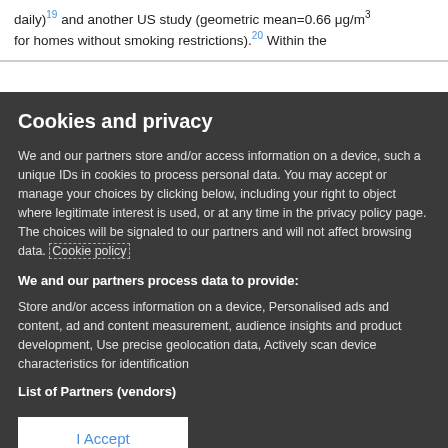daily)19 and another US study (geometric mean=0.66 μg/m3 for homes without smoking restrictions).20 Within the
Cookies and privacy
We and our partners store and/or access information on a device, such a unique IDs in cookies to process personal data. You may accept or manage your choices by clicking below, including your right to object where legitimate interest is used, or at any time in the privacy policy page. These choices will be signaled to our partners and will not affect browsing data. Cookie policy
We and our partners process data to provide:
Store and/or access information on a device, Personalised ads and content, ad and content measurement, audience insights and product development, Use precise geolocation data, Actively scan device characteristics for identification
List of Partners (vendors)
I Accept